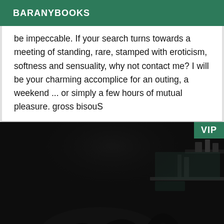BARANYBOOKS
be impeccable. If your search turns towards a meeting of standing, rare, stamped with eroticism, softness and sensuality, why not contact me? I will be your charming accomplice for an outing, a weekend ... or simply a few hours of mutual pleasure. gross bisouS
[Figure (photo): Dark, dimly lit photo showing a person with dark hair in a low-light interior setting with shelves visible in the background. A VIP badge overlay appears in the top-right corner.]